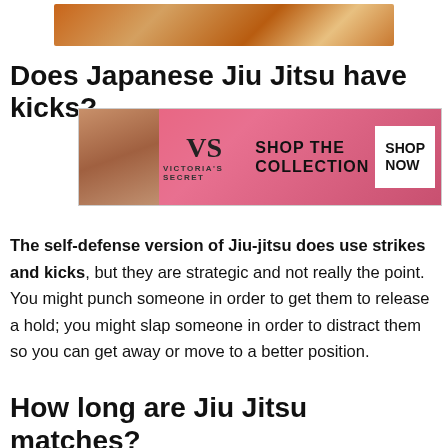[Figure (photo): Partial photo of a pizza on a wooden board, cropped at top]
Does Japanese Jiu Jitsu have kicks?
[Figure (other): Victoria's Secret advertisement banner with woman's face, logo, 'SHOP THE COLLECTION' text, and 'SHOP NOW' button]
The self-defense version of Jiu-jitsu does use strikes and kicks, but they are strategic and not really the point. You might punch someone in order to get them to release a hold; you might slap someone in order to distract them so you can get away or move to a better position.
How long are Jiu Jitsu matches?
[Figure (other): Bloomingdale's advertisement with 'View Today's Top Deals!' text, woman in hat image, and 'SHOP NOW >' button, with CLOSE button]
BJJ